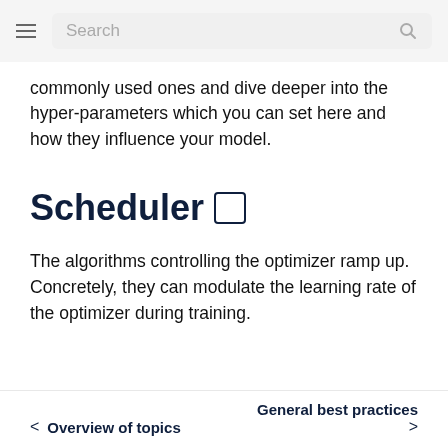Search
commonly used ones and dive deeper into the hyper-parameters which you can set here and how they influence your model.
Scheduler
The algorithms controlling the optimizer ramp up. Concretely, they can modulate the learning rate of the optimizer during training.
< Overview of topics    General best practices >